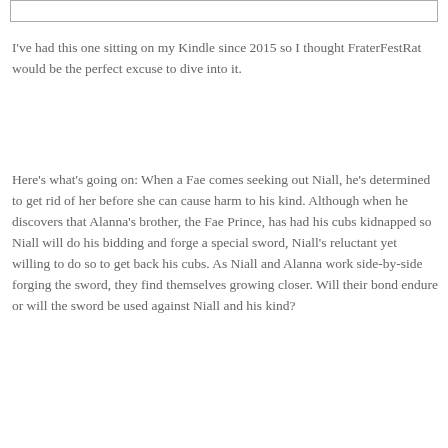[Figure (other): Partial top border of a text box or image frame, cropped at the top of the page]
I've had this one sitting on my Kindle since 2015 so I thought FraterFestRat would be the perfect excuse to dive into it.
Here's what's going on: When a Fae comes seeking out Niall, he's determined to get rid of her before she can cause harm to his kind. Although when he discovers that Alanna's brother, the Fae Prince, has had his cubs kidnapped so Niall will do his bidding and forge a special sword, Niall's reluctant yet willing to do so to get back his cubs. As Niall and Alanna work side-by-side forging the sword, they find themselves growing closer. Will their bond endure or will the sword be used against Niall and his kind?